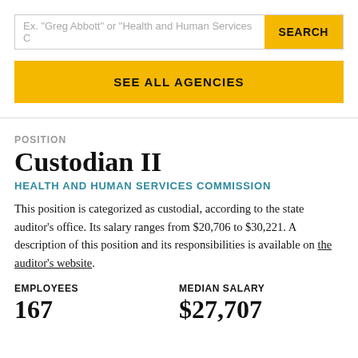Ex. "Greg Abbott" or "Health and Human Services C…
SEARCH
SEE ALL AGENCIES
POSITION
Custodian II
HEALTH AND HUMAN SERVICES COMMISSION
This position is categorized as custodial, according to the state auditor’s office. Its salary ranges from $20,706 to $30,221. A description of this position and its responsibilities is available on the auditor’s website.
EMPLOYEES
MEDIAN SALARY
167
$27,707